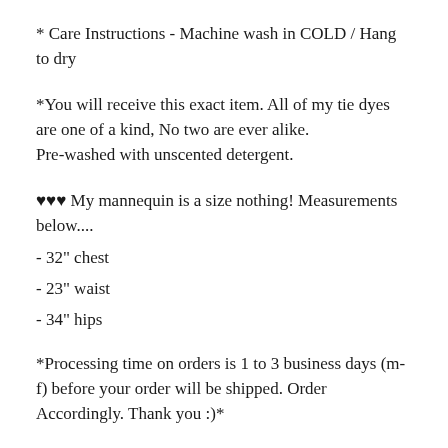* Care Instructions - Machine wash in COLD / Hang to dry
*You will receive this exact item. All of my tie dyes are one of a kind, No two are ever alike.
Pre-washed with unscented detergent.
♥♥♥ My mannequin is a size nothing! Measurements below....
- 32" chest
- 23" waist
- 34" hips
*Processing time on orders is 1 to 3 business days (m-f) before your order will be shipped. Order Accordingly. Thank you :)*
---> ALL International buyers ARE responsible for VAT/CUSTOMS fees or charges at delivery time** This is NOT